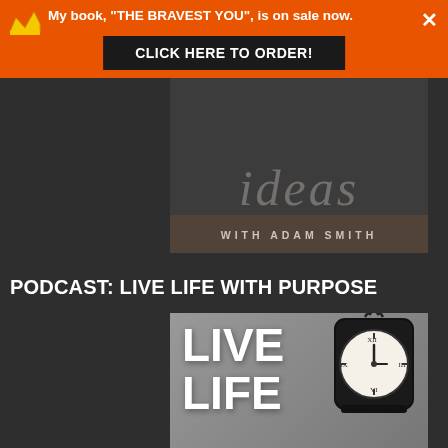My book, "THE BRAVEST YOU", is on sale now.
CLICK HERE TO ORDER!
[Figure (illustration): Podcast banner image with cursive text and 'WITH ADAM SMITH' subtitle on a dark background]
PODCAST: LIVE LIFE WITH PURPOSE
[Figure (illustration): Live Life podcast cover image showing bold white text 'LIVE LIFE' on gray background with a vintage clock]